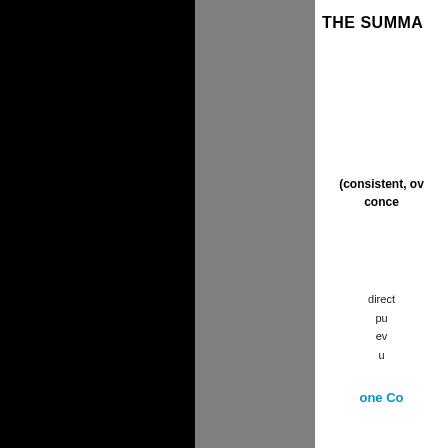[Figure (other): Black vertical panel on the left third of the page]
[Figure (other): Gray vertical panel in the middle third of the page]
THE SUMMA
(consistent, ov
conce
direct
pu
ev
u
one Co